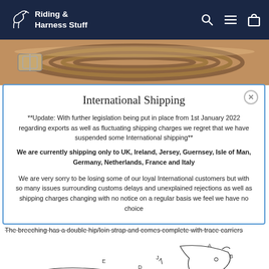Riding & Harness Stuff
[Figure (photo): Brown leather harness strap coiled, showing buckle detail]
International Shipping
**Update: With further legislation being put in place from 1st January 2022 regarding exports as well as fluctuating shipping charges we regret that we have suspended some International shipping**
We are currently shipping only to UK, Ireland, Jersey, Guernsey, Isle of Man, Germany, Netherlands, France and Italy

We are very sorry to be losing some of our loyal International customers but with so many issues surrounding customs delays and unexplained rejections as well as shipping charges changing with no notice on a regular basis we feel we have no choice
The breeching has a double hip/loin strap and comes complete with trace carriers
[Figure (illustration): Line drawing diagram of horse harness with labeled parts A, B, C, D, E, J]